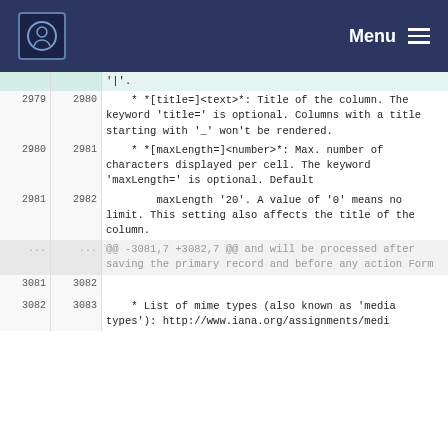Menu
| old | new | code |
| --- | --- | --- |
|  |  | '|'. |
| 2979 | 2980 |     * *[title=]<text>*: Title of the column. The keyword 'title=' is optional. Columns with a title starting with '_' won't be rendered. |
| 2980 | 2981 |     * *[maxLength=]<number>*: Max. number of characters displayed per cell. The keyword 'maxLength=' is optional. Default |
| 2981 | 2982 |         maxLength '20'. A value of '0' means no limit. This setting also affects the title of the column. |
| ... | ... | @@ -3081,7 +3082,7 @@ and will be processed after saving the primary record and before any action Form |
| 3081 | 3082 |  |
| 3082 | 3083 |     * List of mime types (also known as 'media types'): http://www.iana.org/assignments/medi |